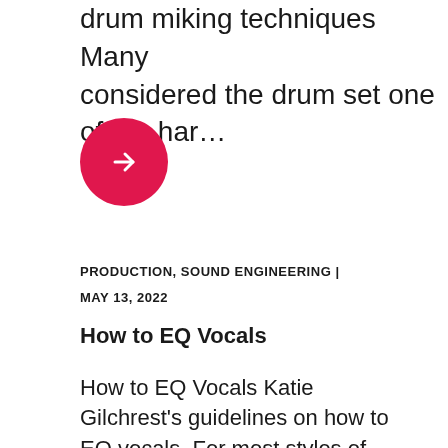drum miking techniques Many considered the drum set one of the har…
[Figure (other): Red circular button with white right-arrow icon]
PRODUCTION,  SOUND ENGINEERING |
MAY 13, 2022
How to EQ Vocals
How to EQ Vocals Katie Gilchrest's guidelines on how to EQ vocals. For most styles of music, vocals are one of the most important parts of the m…